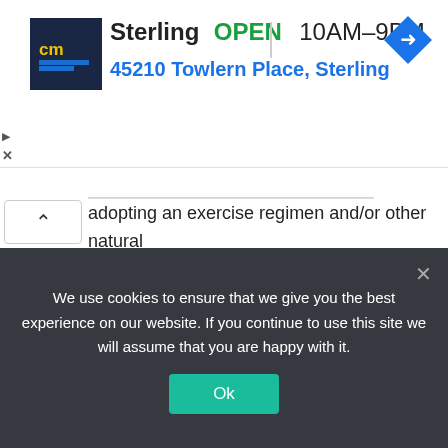[Figure (logo): Advertisement banner: CM logo (dark blue background with 'cm' in yellow/blue text), Sterling store listing with OPEN status, hours 10AM-9PM, address 45210 Towlern Place, Sterling, and a blue navigation arrow icon]
adopting an exercise regimen and/or other natural remedies.
[Figure (logo): Holistic Help logo: teal semicircle with gray circle inset forming a yin-yang style mark, horizontal teal lines, and large teal text 'Holistic Help']
We use cookies to ensure that we give you the best experience on our website. If you continue to use this site we will assume that you are happy with it.